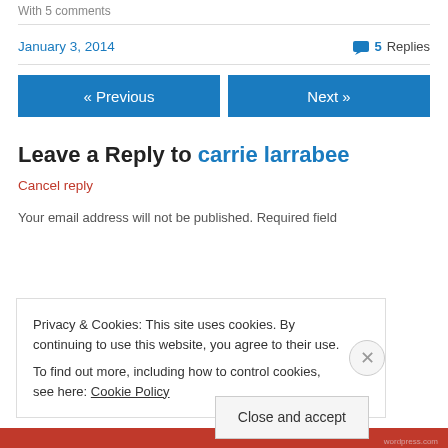With 5 comments
January 3, 2014
5 Replies
« Previous
Next »
Leave a Reply to carrie larrabee
Cancel reply
Your email address will not be published. Required fields
Privacy & Cookies: This site uses cookies. By continuing to use this website, you agree to their use. To find out more, including how to control cookies, see here: Cookie Policy
Close and accept